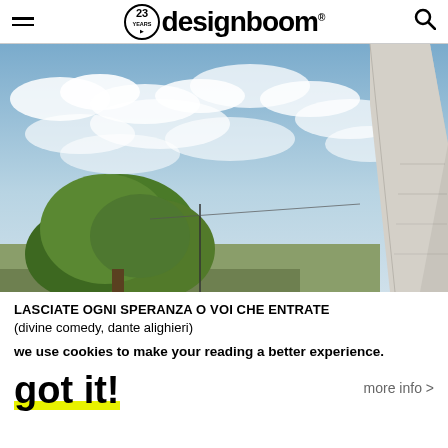designboom (23 years logo)
[Figure (photo): Exterior photo of a building with a tall angular concrete facade/obelisk shape against a partly cloudy sky, with green trees visible in the lower left]
LASCIATE OGNI SPERANZA O VOI CHE ENTRATE
(divine comedy, dante alighieri)
we use cookies to make your reading a better experience.
got it!
more info >